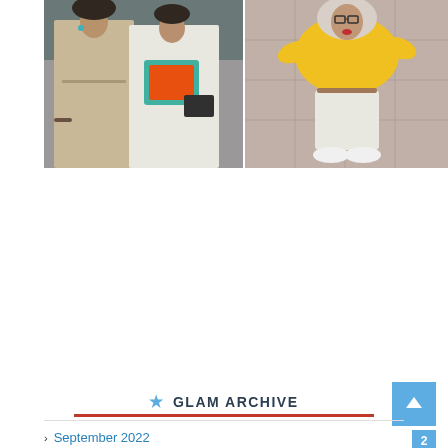[Figure (photo): Two people standing together outdoors — one in a beige/tan flowy dress, another in a white graphic t-shirt with a crossbody bag. Street/urban background.]
[Figure (photo): Person wearing a bright yellow outfit with white hijab and white sneakers, standing on a paved surface, viewed from above/side angle.]
GLAM ARCHIVE
September 2022